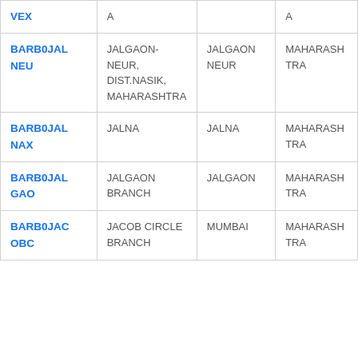| VEX | A |  | A |
| BARB0JALNEU | JALGAON-NEUR, DIST.NASIK, MAHARASHTRA | JALGAON NEUR | MAHARASHTRA |
| BARB0JALNAX | JALNA | JALNA | MAHARASHTRA |
| BARB0JALGAO | JALGAON BRANCH | JALGAON | MAHARASHTRA |
| BARB0JACOBC | JACOB CIRCLE BRANCH | MUMBAI | MAHARASHTRA |